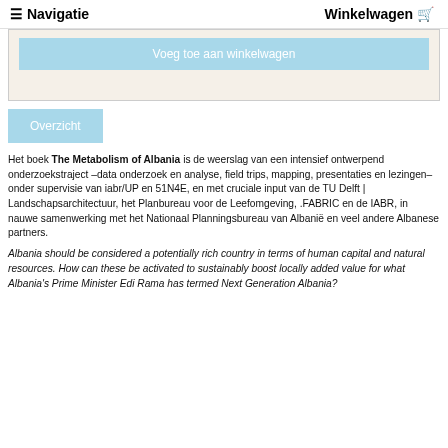≡ Navigatie    Winkelwagen 🛒
Voeg toe aan winkelwagen
Overzicht
Het boek The Metabolism of Albania is de weerslag van een intensief ontwerpend onderzoekstraject –data onderzoek en analyse, field trips, mapping, presentaties en lezingen– onder supervisie van iabr/UP en 51N4E, en met cruciale input van de TU Delft | Landschapsarchitectuur, het Planbureau voor de Leefomgeving, .FABRIC en de IABR, in nauwe samenwerking met het Nationaal Planningsbureau van Albanië en veel andere Albanese partners.
Albania should be considered a potentially rich country in terms of human capital and natural resources. How can these be activated to sustainably boost locally added value for what Albania's Prime Minister Edi Rama has termed Next Generation Albania?